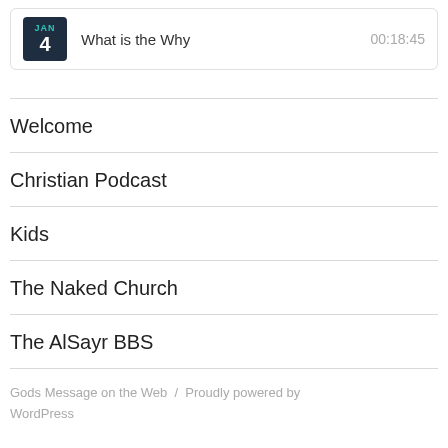JAN 4 — What is the Why — 00:18:45
Welcome
Christian Podcast
Kids
The Naked Church
The AlSayr BBS
Gods Message on the Web / Proudly powered by WordPress